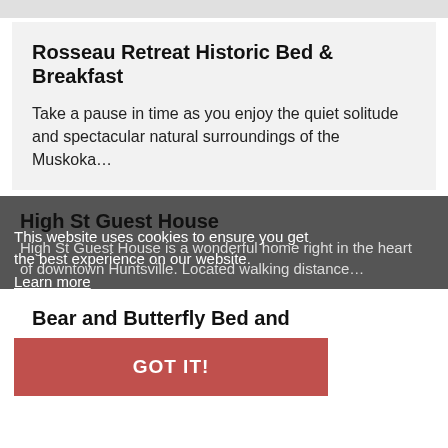Rosseau Retreat Historic Bed & Breakfast
Take a pause in time as you enjoy the quiet solitude and spectacular natural surroundings of the Muskoka…
High St Guest House
High St Guest House is a wonderful home right in the heart of downtown Huntsville. Located walking distance…
This website uses cookies to ensure you get the best experience on our website.
Learn more
GOT IT!
Bear and Butterfly Bed and